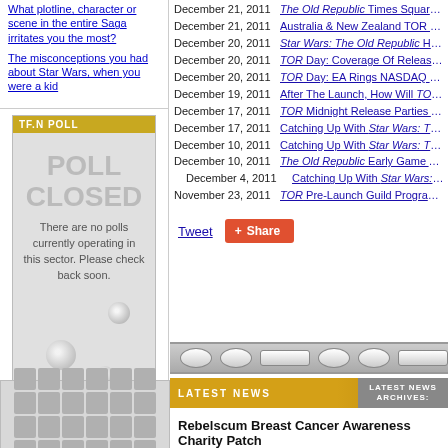What plotline, character or scene in the entire Saga irritates you the most?
The misconceptions you had about Star Wars, when you were a kid
[Figure (screenshot): TF.N Poll - Poll Closed box with decorative dots and View Poll Archives link]
December 21, 2011 - The Old Republic Times Square...
December 21, 2011 - Australia & New Zealand TOR R...
December 20, 2011 - Star Wars: The Old Republic Has...
December 20, 2011 - TOR Day: Coverage Of Release...
December 20, 2011 - TOR Day: EA Rings NASDAQ O...
December 19, 2011 - After The Launch, How Will TOR...
December 17, 2011 - TOR Midnight Release Parties A...
December 17, 2011 - Catching Up With Star Wars: The...
December 10, 2011 - Catching Up With Star Wars: The...
December 10, 2011 - The Old Republic Early Game Ac...
December 4, 2011 - Catching Up With Star Wars: The...
November 23, 2011 - TOR Pre-Launch Guild Program...
Tweet  Share
[Figure (screenshot): Navigation bar with oval and rectangle buttons]
LATEST NEWS  LATEST NEWS ARCHIVES:
Rebelscum Breast Cancer Awareness Charity Patch
Posted By Philip on November 25, 2014:
Thanks to everybody that ordered patches. I sent a check...